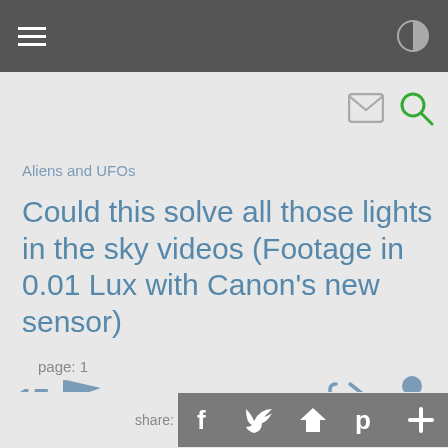navigation bar with hamburger menu and brightness icon
Aliens and UFOs
Could this solve all those lights in the sky videos (Footage in 0.01 Lux with Canon’s new sensor)
page: 1
17
share: